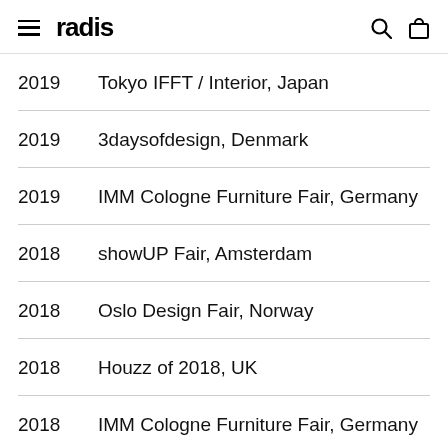radis
2019  Tokyo IFFT / Interior, Japan
2019  3daysofdesign, Denmark
2019  IMM Cologne Furniture Fair, Germany
2018  showUP Fair, Amsterdam
2018  Oslo Design Fair, Norway
2018  Houzz of 2018, UK
2018  IMM Cologne Furniture Fair, Germany